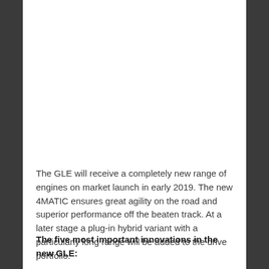The GLE will receive a completely new range of engines on market launch in early 2019. The new 4MATIC ensures great agility on the road and superior performance off the beaten track. At a later stage a plug-in hybrid variant with a particularly long range will be added to the drive portfolio.
The five most important innovations in the new GLE: